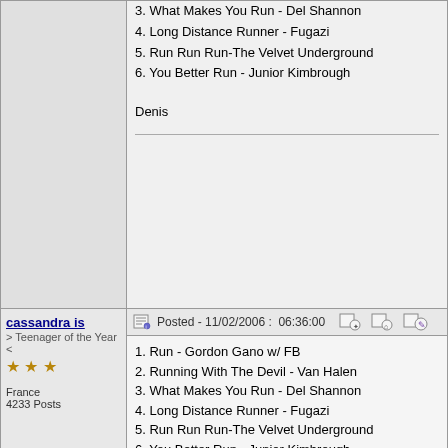| User | Post |
| --- | --- |
| cassandra is
> Teenager of the Year <
★★★
France
4233 Posts | Posted - 11/02/2006 : 06:36:00
1. Run - Gordon Gano w/ FB
2. Running With The Devil - Van Halen
3. What Makes You Run - Del Shannon
4. Long Distance Runner - Fugazi
5. Run Run Run-The Velvet Underground
6. You Better Run - Junior Kimbrough
7. Run Like Hell - Pink Floyd
pas de bras pas de chocolat |
| HeywoodJablome
* Dog in the Sand *
★★ | Posted - 11/02/2006 : 07:18:12 |